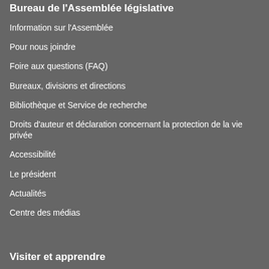Bureau de l'Assemblée législative
Information sur l'Assemblée
Pour nous joindre
Foire aux questions (FAQ)
Bureaux, divisions et directions
Bibliothèque et Service de recherche
Droits d'auteur et déclaration concernant la protection de la vie privée
Accessibilité
Le président
Actualités
Centre des médias
Visiter et apprendre